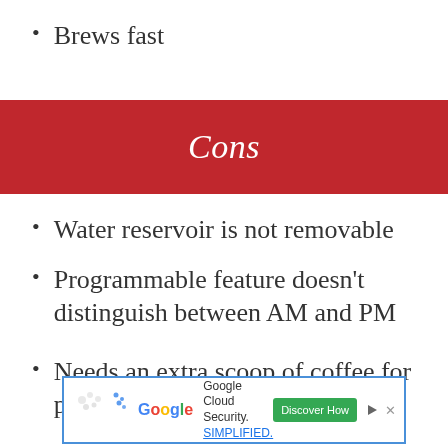Brews fast
Cons
Water reservoir is not removable
Programmable feature doesn't distinguish between AM and PM
Needs an extra scoop of coffee for proper brew strength
[Figure (other): Google Cloud Security advertisement banner]